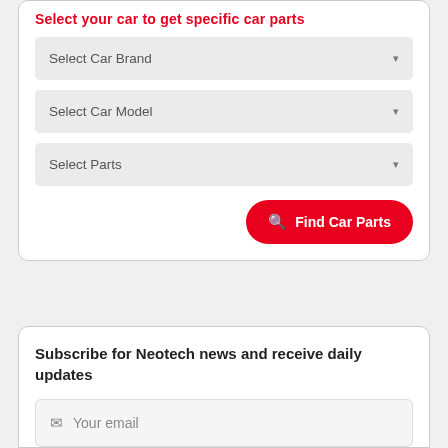Select your car to get specific car parts
Select Car Brand
Select Car Model
Select Parts
Find Car Parts
Subscribe for Neotech news and receive daily updates
Your email